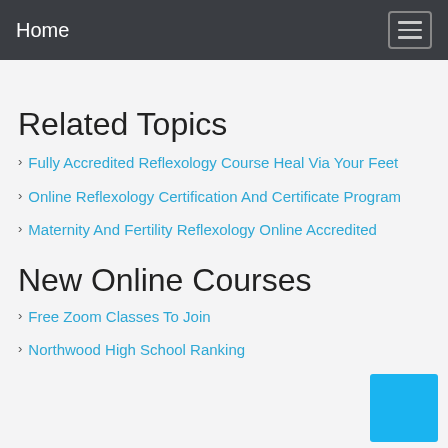Home
Related Topics
Fully Accredited Reflexology Course Heal Via Your Feet
Online Reflexology Certification And Certificate Program
Maternity And Fertility Reflexology Online Accredited
New Online Courses
Free Zoom Classes To Join
Northwood High School Ranking